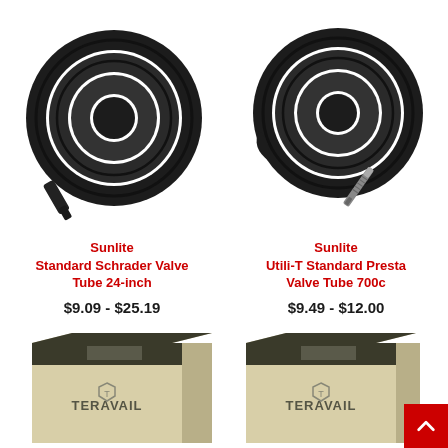[Figure (photo): Coiled black bicycle inner tube with Schrader valve, left product]
Sunlite
Standard Schrader Valve Tube 24-inch
$9.09 - $25.19
[Figure (photo): Coiled black bicycle inner tube with Presta valve, right product]
Sunlite
Utili-T Standard Presta Valve Tube 700c
$9.49 - $12.00
[Figure (photo): Teravail branded bicycle tube box, bottom left, partially visible]
[Figure (photo): Teravail branded bicycle tube box, bottom right, partially visible]